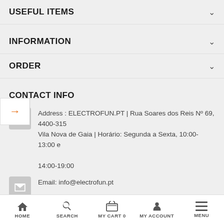USEFUL ITEMS
INFORMATION
ORDER
CONTACT INFO
Address : ELECTROFUN.PT | Rua Soares dos Reis Nº 69, 4400-315 Vila Nova de Gaia | Horário: Segunda a Sexta, 10:00-13:00 e 14:00-19:00
Email: info@electrofun.pt
Tlf: 707 011 964 (Horário de loja)
HOME  SEARCH  MY CART 0  MY ACCOUNT  MENU